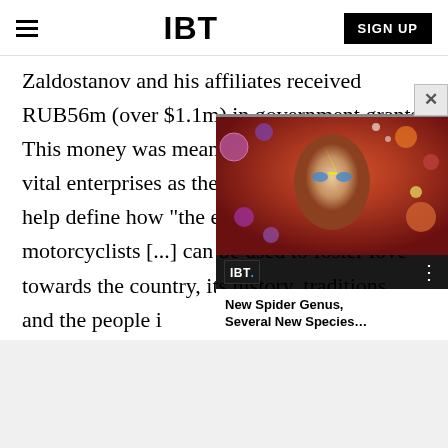IBT
Zaldostanov and his affiliates received RUB56m (over $1.1m) in government grants. This money was meant to be spent on such vital enterprises as the research that would help define how "the experience of Russian motorcyclists [...] can be used to foster love towards the country, its history, traditions, and the people i
[Figure (screenshot): IBT video overlay showing a person with David Bowie-style face paint with colorful orbs/planets, with caption 'New Spider Genus, Several New Species...']